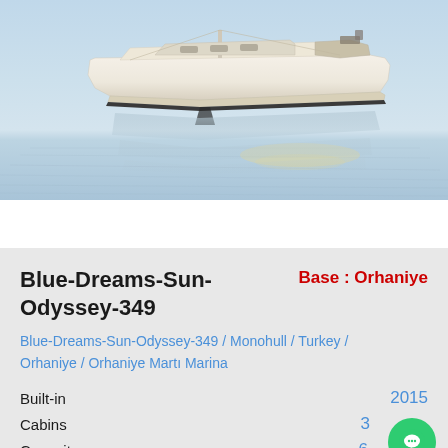[Figure (photo): Sailboat on calm water, white hull, viewed from stern quarter, reflected on still blue-grey water]
Blue-Dreams-Sun-Odyssey-349
Base : Orhaniye
Blue-Dreams-Sun-Odyssey-349 / Monohull / Turkey / Orhaniye / Orhaniye Martı Marina
Built-in 2015
Cabins 3
Capacity 6